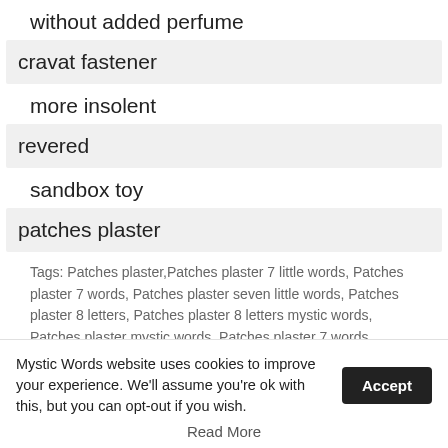without added perfume
cravat fastener
more insolent
revered
sandbox toy
patches plaster
Tags: Patches plaster,Patches plaster 7 little words, Patches plaster 7 words, Patches plaster seven little words, Patches plaster 8 letters, Patches plaster 8 letters mystic words, Patches plaster mystic words, Patches plaster 7 words, Patches plaster 7 words puzzle, May 24 2022 mystic words, May 24 2022 mystic daily, mystic words May 24 2022, May 24 2022 7 puzzle,
Mystic Words website uses cookies to improve your experience. We'll assume you're ok with this, but you can opt-out if you wish.
Read More